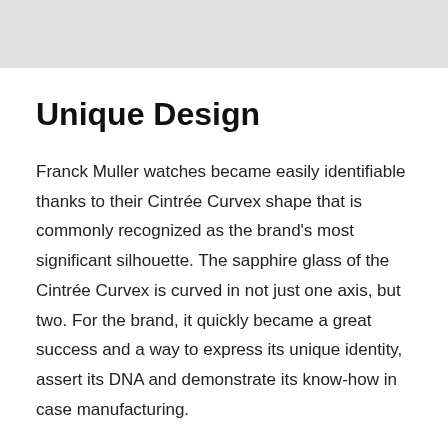Unique Design
Franck Muller watches became easily identifiable thanks to their Cintrée Curvex shape that is commonly recognized as the brand's most significant silhouette. The sapphire glass of the Cintrée Curvex is curved in not just one axis, but two. For the brand, it quickly became a great success and a way to express its unique identity, assert its DNA and demonstrate its know-how in case manufacturing.